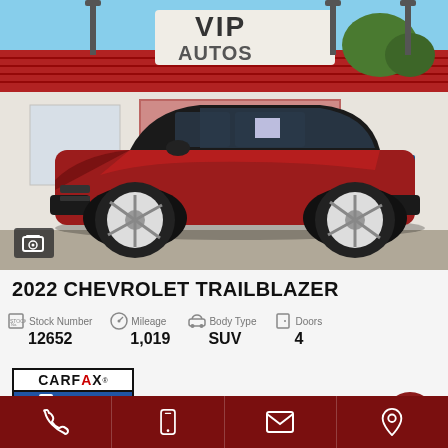[Figure (photo): Red 2022 Chevrolet Trailblazer SUV parked in front of VIP Autos dealership with red roof and signage, sunny day]
2022 CHEVROLET TRAILBLAZER
Stock Number 12652 | Mileage 1,019 | Body Type SUV | Doors 4
[Figure (logo): CARFAX 1 OWNER logo with FAIR VALUE badge]
Phone | Mobile | Email | Location icons navigation bar